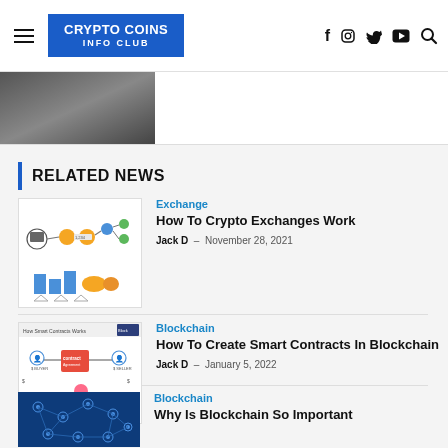CRYPTO COINS INFO CLUB — navigation header with hamburger menu and social icons (f, Instagram, Twitter, YouTube, Search)
[Figure (photo): Partial image visible at top left below header, dark gray textured surface]
RELATED NEWS
[Figure (infographic): Crypto exchange flow diagram with orange and blue nodes, arrows, and icons]
Exchange
How To Crypto Exchanges Work
Jack D  -  November 28, 2021
[Figure (infographic): How Smart Contracts Works diagram with icons for buyer, seller, contract, and various assets]
Blockchain
How To Create Smart Contracts In Blockchain
Jack D  -  January 5, 2022
[Figure (photo): Blue blockchain network graphic with connected nodes on dark blue background]
Blockchain
Why Is Blockchain So Important